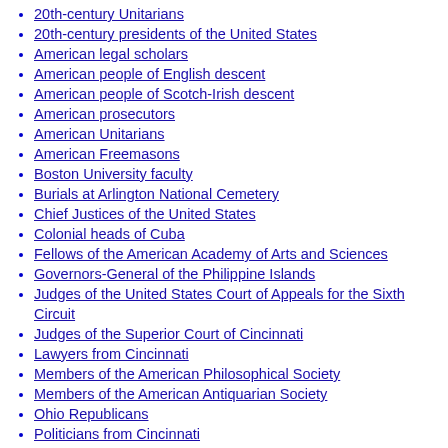20th-century Unitarians
20th-century presidents of the United States
American legal scholars
American people of English descent
American people of Scotch-Irish descent
American prosecutors
American Unitarians
American Freemasons
Boston University faculty
Burials at Arlington National Cemetery
Chief Justices of the United States
Colonial heads of Cuba
Fellows of the American Academy of Arts and Sciences
Governors-General of the Philippine Islands
Judges of the United States Court of Appeals for the Sixth Circuit
Judges of the Superior Court of Cincinnati
Lawyers from Cincinnati
Members of the American Philosophical Society
Members of the American Antiquarian Society
Ohio Republicans
Politicians from Cincinnati
Presidents of the American Bar Association
Presidents of the United States
Progressive Era in the United States